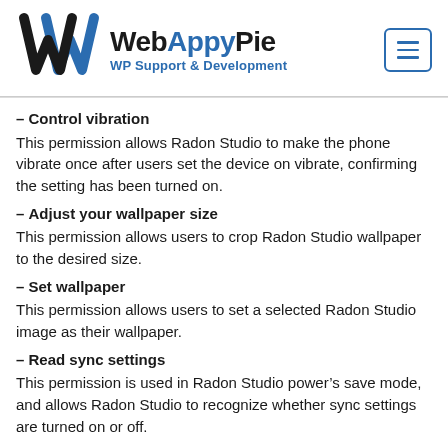[Figure (logo): WebAppyPie logo with stylized W mark and text 'WebAppyPie WP Support & Development']
– Control vibration
This permission allows Radon Studio to make the phone vibrate once after users set the device on vibrate, confirming the setting has been turned on.
– Adjust your wallpaper size
This permission allows users to crop Radon Studio wallpaper to the desired size.
– Set wallpaper
This permission allows users to set a selected Radon Studio image as their wallpaper.
– Read sync settings
This permission is used in Radon Studio power's save mode, and allows Radon Studio to recognize whether sync settings are turned on or off.